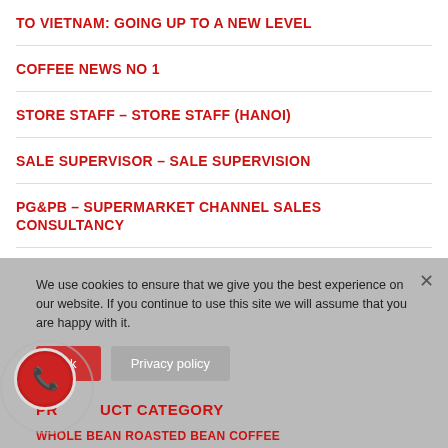TO VIETNAM: GOING UP TO A NEW LEVEL
COFFEE NEWS NO 1
STORE STAFF – STORE STAFF (HANOI)
SALE SUPERVISOR – SALE SUPERVISION
PG&PB – SUPERMARKET CHANNEL SALES CONSULTANCY
We use cookies to ensure that we give you the best experience on our website. If you continue to use this site we will assume that you are happy with it.
Ok
Privacy policy
PRODUCT CATEGORY
WHOLE BEAN ROASTED BEAN COFFEE